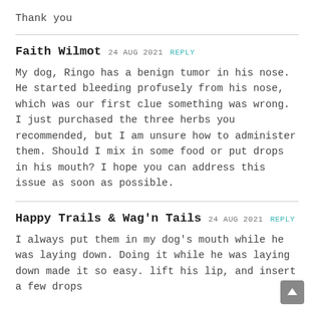Thank you
Faith Wilmot 24 AUG 2021 REPLY
My dog, Ringo has a benign tumor in his nose. He started bleeding profusely from his nose, which was our first clue something was wrong. I just purchased the three herbs you recommended, but I am unsure how to administer them. Should I mix in some food or put drops in his mouth? I hope you can address this issue as soon as possible.
Happy Trails & Wag'n Tails 24 AUG 2021 REPLY
I always put them in my dog's mouth while he was laying down. Doing it while he was laying down made it so easy. lift his lip, and insert a few drops